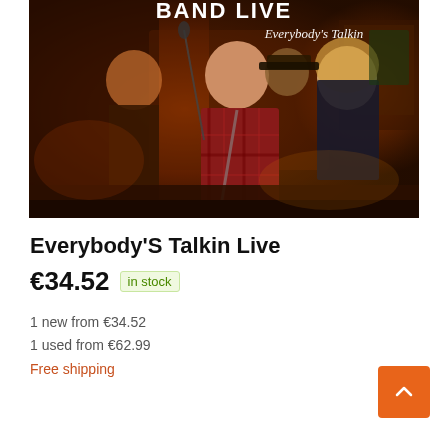[Figure (photo): Album cover photo showing a band performing live on stage. Multiple musicians visible including a man in a red plaid shirt playing guitar in the foreground. Text on cover reads 'BAND LIVE Everybody's Talkin' in stylized font. Dark warm-toned concert photography.]
Everybody'S Talkin Live
€34.52  in stock
1 new from €34.52
1 used from €62.99
Free shipping